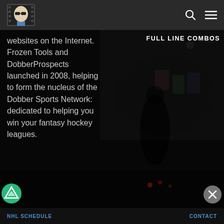[Figure (logo): Dobber Sports website logo - cartoon figure with sunglasses in a film frame style border]
websites on the Internet. Frozen Tools and DobberProspects launched in 2008, helping to form the nucleus of the Dobber Sports Network: dedicated to helping you win your fantasy hockey leagues.
FULL LINE COMBOS
[Figure (photo): Dark arena/hockey rink background photo with banner championship signs visible]
[Figure (logo): Victoria's Secret advertisement banner - Shop the Collection - Shop Now button]
NHL SCHEDULE    CONTACT